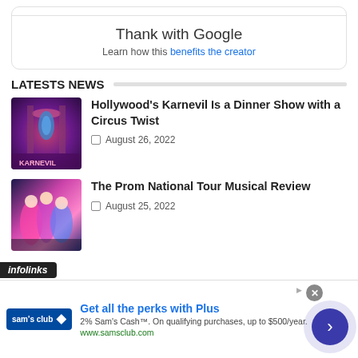Thank with Google
Learn how this benefits the creator
LATESTS NEWS
[Figure (photo): Circus aerial performer on stage with purple and red lighting]
Hollywood's Karnevil Is a Dinner Show with a Circus Twist
August 26, 2022
[Figure (photo): Prom musical performers on stage with colorful costumes]
The Prom National Tour Musical Review
August 25, 2022
infolinks
Get all the perks with Plus
2% Sam's Cash™. On qualifying purchases, up to $500/year.
www.samsclub.com